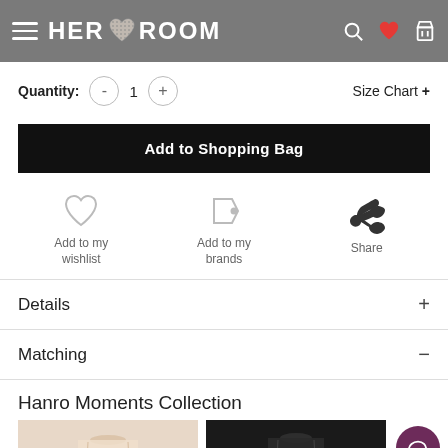HER ROOM
Quantity: - 1 +    Size Chart +
Add to Shopping Bag
Add to my wishlist
Add to my brands
Share
Details +
Matching —
Hanro Moments Collection